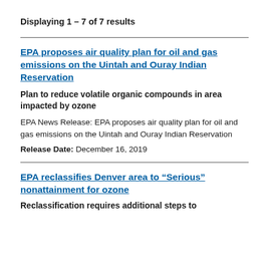Displaying 1 – 7 of 7 results
EPA proposes air quality plan for oil and gas emissions on the Uintah and Ouray Indian Reservation
Plan to reduce volatile organic compounds in area impacted by ozone
EPA News Release: EPA proposes air quality plan for oil and gas emissions on the Uintah and Ouray Indian Reservation
Release Date: December 16, 2019
EPA reclassifies Denver area to “Serious” nonattainment for ozone
Reclassification requires additional steps to...